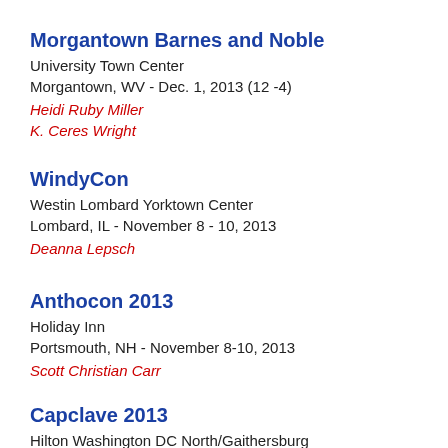Morgantown Barnes and Noble
University Town Center
Morgantown, WV - Dec. 1, 2013 (12 -4)
Heidi Ruby Miller
K. Ceres Wright
WindyCon
Westin Lombard Yorktown Center
Lombard, IL - November 8 - 10, 2013
Deanna Lepsch
Anthocon 2013
Holiday Inn
Portsmouth, NH - November 8-10, 2013
Scott Christian Carr
Capclave 2013
Hilton Washington DC North/Gaithersburg
Gaithersburg, MD - October 11 - 13, 2013